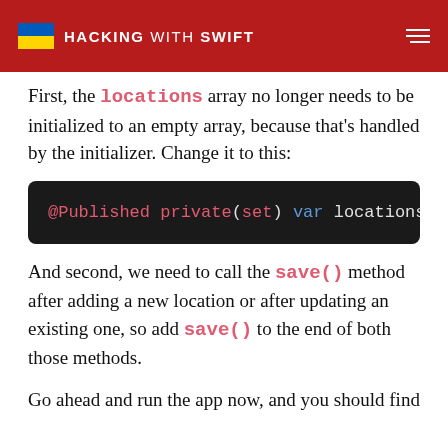HACKING WITH SWIFT
First, the locations array no longer needs to be initialized to an empty array, because that's handled by the initializer. Change it to this:
[Figure (screenshot): @Published private(set) var locations — code block on dark background]
And second, we need to call the save() method after adding a new location or after updating an existing one, so add save() to the end of both those methods.
Go ahead and run the app now, and you should find